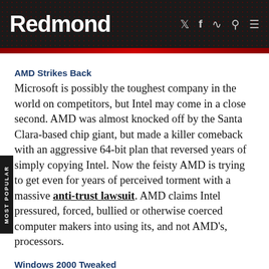Redmond
AMD Strikes Back
Microsoft is possibly the toughest company in the world on competitors, but Intel may come in a close second. AMD was almost knocked off by the Santa Clara-based chip giant, but made a killer comeback with an aggressive 64-bit plan that reversed years of simply copying Intel. Now the feisty AMD is trying to get even for years of perceived torment with a massive anti-trust lawsuit. AMD claims Intel pressured, forced, bullied or otherwise coerced computer makers into using its, and not AMD's, processors.
Windows 2000 Tweaked
Windows 2000 users might want to avail themselves of the new Update Rollup for Windows